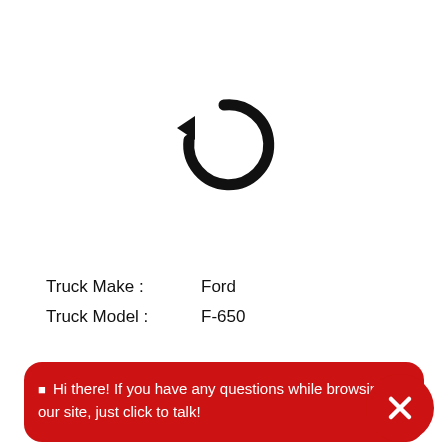[Figure (illustration): Circular refresh/undo arrow icon in black]
Truck Make :    Ford
Truck Model :    F-650
[Figure (screenshot): Red chat bubble overlay: Hi there! If you have any questions while browsing our site, just click to talk!]
Condition:    Salvage
Engine Make:    Cummins
Engine Model:    ISB
Mileage:    225K
Description:    2007 F650 5.9 ISB,ALLISON